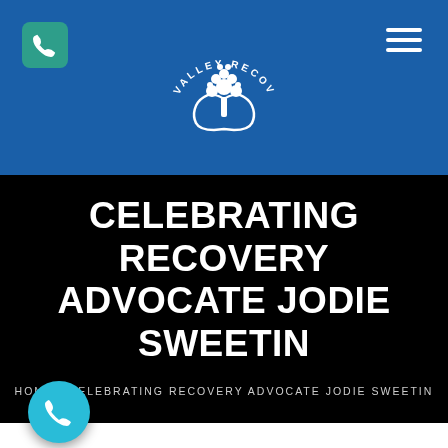[Figure (logo): Valley Recovery Center logo — white tree/hands icon with circular text 'VALLEY RECOVERY CENTER' on blue header background]
CELEBRATING RECOVERY ADVOCATE JODIE SWEETIN
HOME | CELEBRATING RECOVERY ADVOCATE JODIE SWEETIN
[Figure (illustration): Circular teal phone call button (floating action button) in lower-left corner of white section]